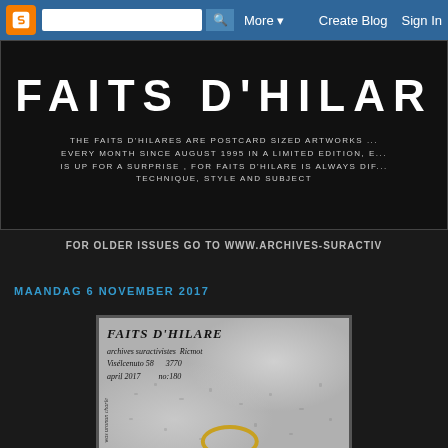Blogger navigation bar with search, More, Create Blog, Sign In
FAITS D'HILAR
THE FAITS D'HILARES ARE POSTCARD SIZED ARTWORKS ... EVERY MONTH SINCE AUGUST 1995 IN A LIMITED EDITION, E... IS UP FOR A SURPRISE , FOR FAITS D'HILARE IS ALWAYS DIF... TECHNIQUE, STYLE AND SUBJECT
FOR OLDER ISSUES GO TO WWW.ARCHIVES-SURACTIV
MAANDAG 6 NOVEMBER 2017
[Figure (photo): Postcard artwork showing handwritten text 'FAITS D'HILARE', archives suractivistes Ricmot, Visélcenuto 58, 3770, april 2017, no:180, with textured grey background and a gold ring at the bottom]